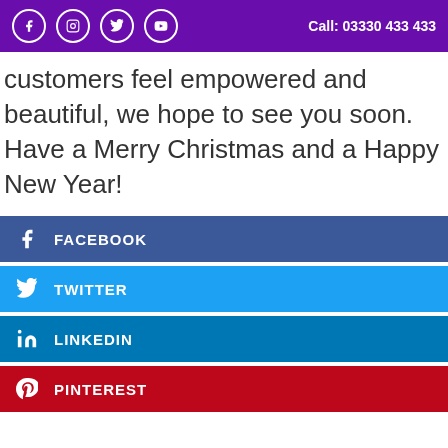Call: 03330 433 433
customers feel empowered and beautiful, we hope to see you soon. Have a Merry Christmas and a Happy New Year!
FACEBOOK
TWITTER
LINKEDIN
PINTEREST